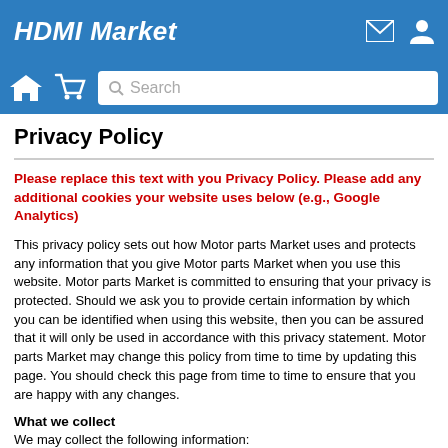HDMI Market
Privacy Policy
Please replace this text with you Privacy Policy. Please add any additional cookies your website uses below (e.g., Google Analytics)
This privacy policy sets out how Motor parts Market uses and protects any information that you give Motor parts Market when you use this website. Motor parts Market is committed to ensuring that your privacy is protected. Should we ask you to provide certain information by which you can be identified when using this website, then you can be assured that it will only be used in accordance with this privacy statement. Motor parts Market may change this policy from time to time by updating this page. You should check this page from time to time to ensure that you are happy with any changes.
What we collect
We may collect the following information: